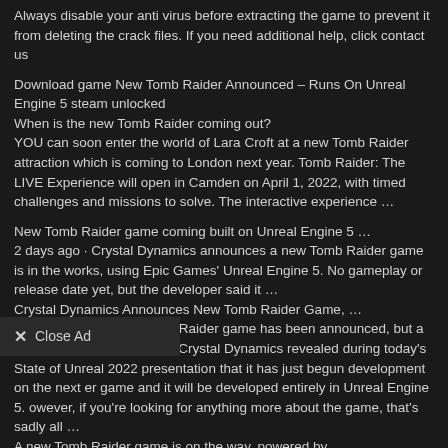Always disable your anti virus before extracting the game to prevent it from deleting the crack files. If you need additional help, click contact us
Download game New Tomb Raider Announced – Runs On Unreal Engine 5 steam unlocked
When is the new Tomb Raider coming out?
YOU can soon enter the world of Lara Croft at a new Tomb Raider attraction which is coming to London next year. Tomb Raider: The LIVE Experience will open in Camden on April 1, 2022, with timed challenges and missions to solve. The interactive experience …
New Tomb Raider game coming built on Unreal Engine 5 …
2 days ago · Crystal Dynamics announces a new Tomb Raider game is in the works, using Epic Games' Unreal Engine 5. No gameplay or release date yet, but the developer said it …
Crystal Dynamics Announces New Tomb Raider Game, …
Apr 05, 2022 · A new Tomb Raider game has been announced, but a title for it was not revealed. Crystal Dynamics revealed during today's State of Unreal 2022 presentation that it has just begun development on the next er game and it will be developed entirely in Unreal Engine 5. owever, if you're looking for anything more about the game, that's sadly all …
A new Tomb Raider game is on the way, powered by …
Apr 05, 2022 · — Tomb Raider (@tombraider) April 5, 2022 It would also appear to signal the end of the studio's in-house Foundation engine, which powered Rise of the Tomb Raiderand the most recent mainline entry...
✕  Close Ad